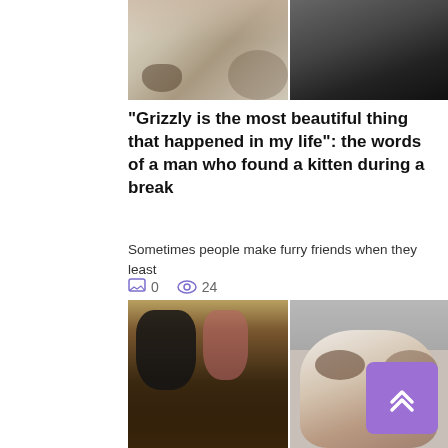[Figure (photo): Two side-by-side photos at top: left shows a hand near a cat paw on a striped surface, right shows a dark background scene]
“Grizzly is the most beautiful thing that happened in my life”: the words of a man who found a kitten during a break
Sometimes people make furry friends when they least
0  24
[Figure (photo): Two side-by-side photos at bottom: left shows two children (a boy and a girl) sitting together with a cat, right shows a close-up of a fluffy cat's face on a couch]